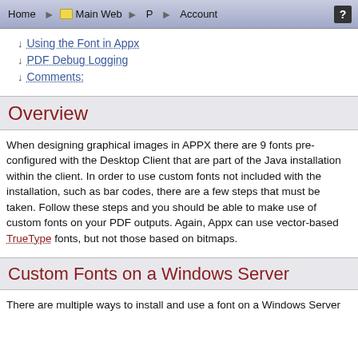Home | Main Web | P | Account | ?
Using the Font in Appx
PDF Debug Logging
Comments:
Overview
When designing graphical images in APPX there are 9 fonts pre-configured with the Desktop Client that are part of the Java installation within the client. In order to use custom fonts not included with the installation, such as bar codes, there are a few steps that must be taken. Follow these steps and you should be able to make use of custom fonts on your PDF outputs. Again, Appx can use vector-based TrueType fonts, but not those based on bitmaps.
Custom Fonts on a Windows Server
There are multiple ways to install and use a font on a Windows Server